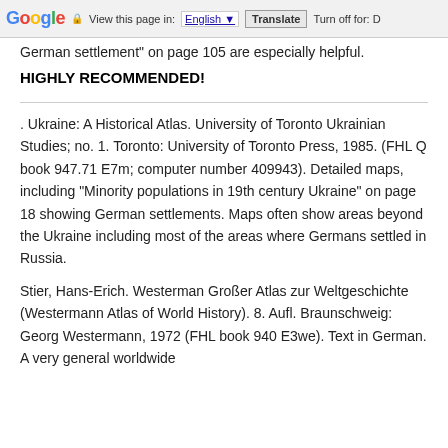Google | View this page in: English | Translate | Turn off for: D
German settlement" on page 105 are especially helpful.
HIGHLY RECOMMENDED!
. Ukraine: A Historical Atlas. University of Toronto Ukrainian Studies; no. 1. Toronto: University of Toronto Press, 1985. (FHL Q book 947.71 E7m; computer number 409943). Detailed maps, including “Minority populations in 19th century Ukraine” on page 18 showing German settlements. Maps often show areas beyond the Ukraine including most of the areas where Germans settled in Russia.
Stier, Hans-Erich. Westerman Großer Atlas zur Weltgeschichte (Westermann Atlas of World History). 8. Aufl. Braunschweig: Georg Westermann, 1972 (FHL book 940 E3we). Text in German. A very general worldwide